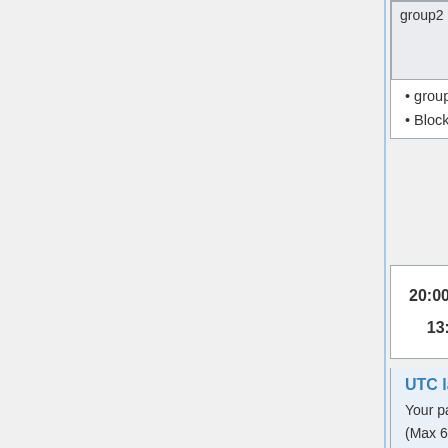| group2 | 1.39.0-wmf.1–wmf.4->1.39.0-wmf.5 |
| --- | --- |
group2 to 1.39.0-wmf.5
Blockers: task T300204
20:00–21:00 UTC # 13:00–14:00 PDT
UTC late backport and config training
Your patch may or may not be deployed at the sole discretion of the deployer
(Max 6 patches)
| Deployer | Changes |
| --- | --- |
| Deployer | Brennen (brennen) |
| Changes | Training to do backport and config deployment. To sign up for deployer training use the Deployment Tra… Request phabricator milestone…

Sergio Gimeno (Sergi0) |